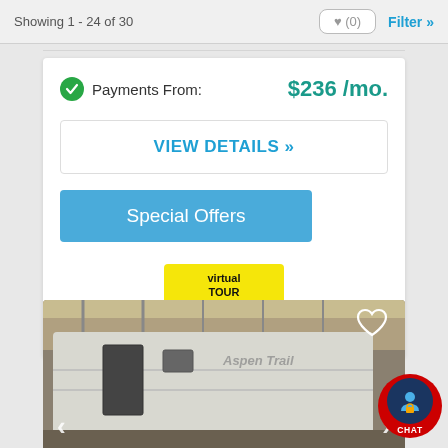Showing 1 - 24 of 30
Payments From: $236 /mo.
VIEW DETAILS »
Special Offers
[Figure (logo): Virtual Tour badge — yellow rectangle with 'virtual TOUR' text and circular arrow logo]
[Figure (photo): RV/trailer interior of a warehouse showroom, with a white travel trailer labeled 'Aspen Trail']
[Figure (illustration): CHAT button — red circle with blue icon and CHAT label]